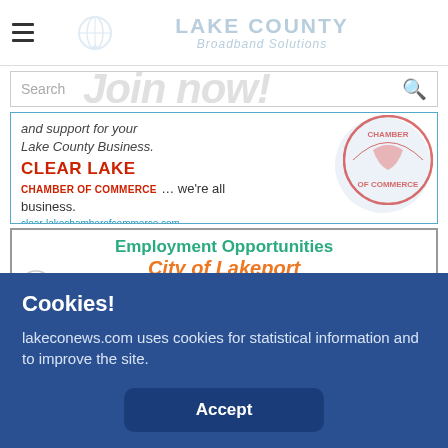[Figure (logo): Lake County Broadband Solutions logo — text in light blue-gray, with a globe/teardrop icon on the left]
[Figure (screenshot): Search bar area with overlapping 'Join now!' text in large light gray italic font]
[Figure (infographic): Clear Lake Chamber of Commerce advertisement — text 'and support for your Lake County Business.' in italic, then CLEAR LAKE CHAMBER OF COMMERCE in red caps, '... we're all business.' tagline, and URL clear-lakechamberofcommerce.com in teal]
[Figure (infographic): City of Lakeport employment opportunities advertisement — 'Employment Opportunities' in teal/green bold, 'City of Lakeport' in orange italic bold, and partial text '• Permit Technician' below]
Cookies!
lakeconews.com uses cookies for statistical information and to improve the site.
Accept